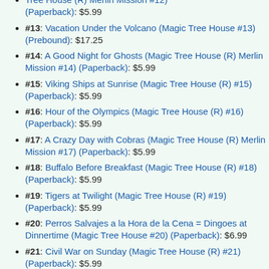#12: (partial) Tree House (R) Merlin Mission #12) (Paperback): $5.99
#13: Vacation Under the Volcano (Magic Tree House #13) (Prebound): $17.25
#14: A Good Night for Ghosts (Magic Tree House (R) Merlin Mission #14) (Paperback): $5.99
#15: Viking Ships at Sunrise (Magic Tree House (R) #15) (Paperback): $5.99
#16: Hour of the Olympics (Magic Tree House (R) #16) (Paperback): $5.99
#17: A Crazy Day with Cobras (Magic Tree House (R) Merlin Mission #17) (Paperback): $5.99
#18: Buffalo Before Breakfast (Magic Tree House (R) #18) (Paperback): $5.99
#19: Tigers at Twilight (Magic Tree House (R) #19) (Paperback): $5.99
#20: Perros Salvajes a la Hora de la Cena = Dingoes at Dinnertime (Magic Tree House #20) (Paperback): $6.99
#21: Civil War on Sunday (Magic Tree House (R) #21) (Paperback): $5.99
#22: Hurry Up, Houdini! (Magic Tree House (R) Merlin Mission #22) (Paperback): $5.99